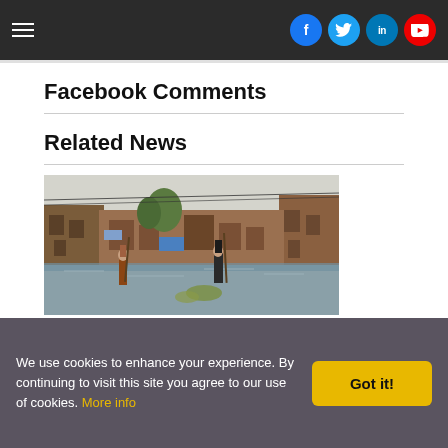Navigation header with hamburger menu and social icons (Facebook, Twitter, LinkedIn, YouTube)
Facebook Comments
Related News
[Figure (photo): Two people using long poles to navigate a flooded street in what appears to be a South Asian urban area, with brick buildings on either side and debris in the water.]
We use cookies to enhance your experience. By continuing to visit this site you agree to our use of cookies. More info